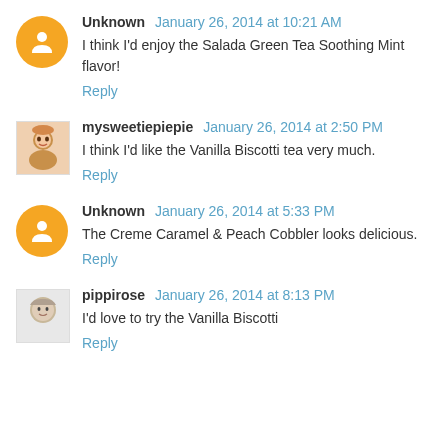Unknown January 26, 2014 at 10:21 AM
I think I'd enjoy the Salada Green Tea Soothing Mint flavor!
Reply
mysweetiepiepie January 26, 2014 at 2:50 PM
I think I'd like the Vanilla Biscotti tea very much.
Reply
Unknown January 26, 2014 at 5:33 PM
The Creme Caramel & Peach Cobbler looks delicious.
Reply
pippirose January 26, 2014 at 8:13 PM
I'd love to try the Vanilla Biscotti
Reply